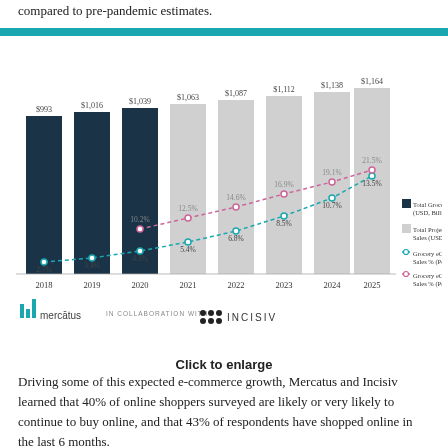compared to pre-pandemic estimates.
[Figure (grouped-bar-chart): Total Grocery Sales vs. Projected with eCommerce %]
Click to enlarge
Driving some of this expected e-commerce growth, Mercatus and Incisiv learned that 40% of online shoppers surveyed are likely or very likely to continue to buy online, and that 43% of respondents have shopped online in the last 6 months.